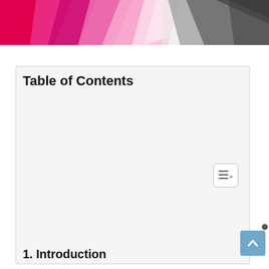[Figure (illustration): Abstract geometric background header with pink, magenta, and gray polygon shapes forming a decorative banner.]
Table of Contents
1. Introduction